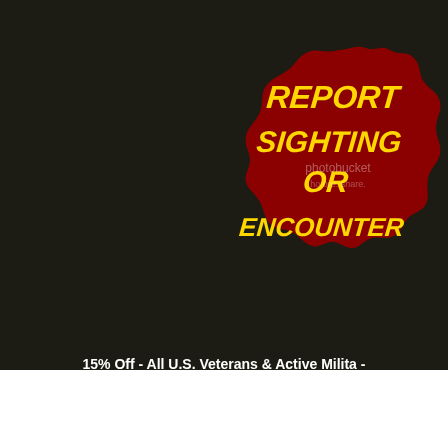[Figure (other): Dark background page with a dark red scalloped/wavy-edged badge/seal stamp shape containing bold yellow italic text 'REPORT SIGHTING OR ENCOUNTER'. A photobucket watermark is visible over the stamp. A small broken image icon appears below the stamp. At the bottom, bold white text reads '15% Off - All U.S. Veterans & Active Milita...' and 'Use coupon code A1028 during purchase -']
15% Off - All U.S. Veterans & Active Milita -
Use coupon code A1028 during purchase -